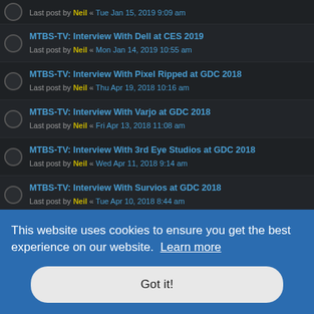Last post by Neil « Tue Jan 15, 2019 9:09 am
MTBS-TV: Interview With Dell at CES 2019 — Last post by Neil « Mon Jan 14, 2019 10:55 am
MTBS-TV: Interview With Pixel Ripped at GDC 2018 — Last post by Neil « Thu Apr 19, 2018 10:16 am
MTBS-TV: Interview With Varjo at GDC 2018 — Last post by Neil « Fri Apr 13, 2018 11:08 am
MTBS-TV: Interview With 3rd Eye Studios at GDC 2018 — Last post by Neil « Wed Apr 11, 2018 9:14 am
MTBS-TV: Interview With Survios at GDC 2018 — Last post by Neil « Tue Apr 10, 2018 8:44 am
MTBS-TV: Interview With Unbound Technologies at GDC 2018 — Last post by Neil « Mon Apr 09, 2018 11:25 am
MTBS-TV: Interview With Qualcomm at GDC 2018 (partial, obscured)
This website uses cookies to ensure you get the best experience on our website. Learn more
Got it!